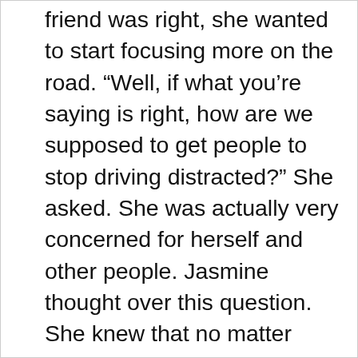friend was right, she wanted to start focusing more on the road. “Well, if what you’re saying is right, how are we supposed to get people to stop driving distracted?” She asked. She was actually very concerned for herself and other people. Jasmine thought over this question. She knew that no matter what, teens would do what they wanted. It was hard to get adults to obey laws, so how would teens? After a moment of pondering, Jasmine spoke. “Well, you know how people say to have a designated driver if you’re drunk?” Her friends nodded and she continued. “Maybe we should have a designated passenger to be sure no distractions are occurring. Someone like me in every car.” Her friends thought this over. “It would be hard for people to follow that,”